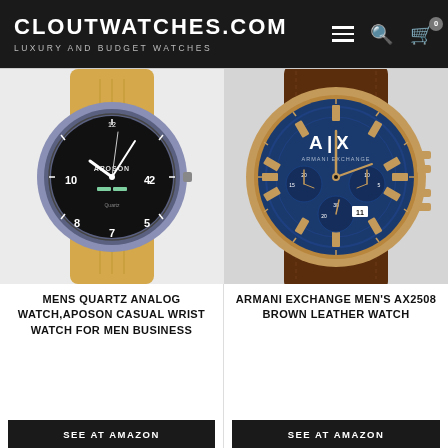CLOUTWATCHES.COM — LUXURY AND BUDGET WATCHES
[Figure (photo): Aposon men's quartz analog watch with black dial, blue-grey case, and tan leather strap]
[Figure (photo): Armani Exchange AX2508 men's chronograph watch with blue dial, rose gold case, and brown leather strap]
MENS QUARTZ ANALOG WATCH,APOSON CASUAL WRIST WATCH FOR MEN BUSINESS
ARMANI EXCHANGE MEN'S AX2508 BROWN LEATHER WATCH
SEE AT AMAZON
SEE AT AMAZON